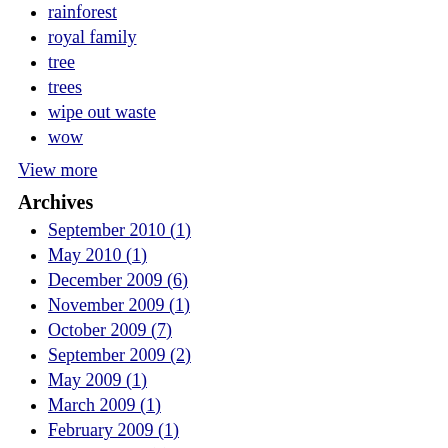rainforest
royal family
tree
trees
wipe out waste
wow
View more
Archives
September 2010 (1)
May 2010 (1)
December 2009 (6)
November 2009 (1)
October 2009 (7)
September 2009 (2)
May 2009 (1)
March 2009 (1)
February 2009 (1)
January 2009 (2)
December 2008 (3)
November 2008 (4)
October 2008 (1)
May 2008 (1)
October 2007 (2)
September 2007 (1)
August 2007 (1)